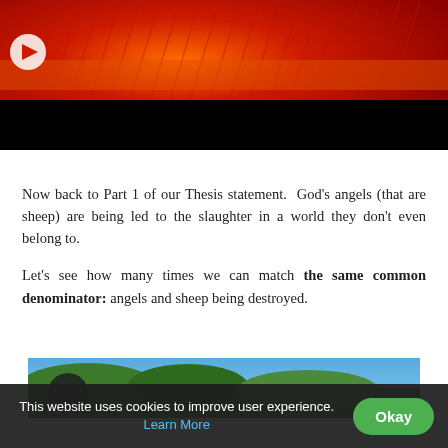[Figure (photo): Red-toned artistic photo with orange and red textures, appears to show hair or feathers, with a dark black bar across the lower portion. A circular play button is visible in the upper left.]
Now back to Part 1 of our Thesis statement.  God's angels (that are sheep) are being led to the slaughter in a world they don't even belong to.
Let's see how many times we can match the same common denominator: angels and sheep being destroyed.
[Figure (photo): Bottom partial image showing outdoor scene with green foliage and blue sky, with a circular icon visible on the left side.]
This website uses cookies to improve user experience. Learn More